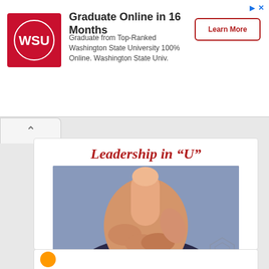[Figure (other): Advertisement banner for Washington State University online program. Contains WSU logo, headline text, body text, and Learn More button.]
Graduate Online in 16 Months
Graduate from Top-Ranked Washington State University 100% Online. Washington State Univ.
Leadership in “U”
[Figure (photo): Close-up photo of a person in a business suit pointing their finger directly at the viewer, on a blurred background.]